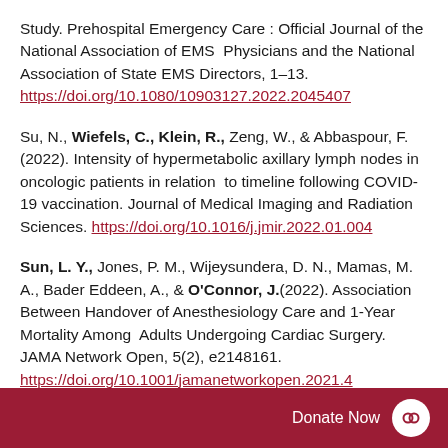Study. Prehospital Emergency Care : Official Journal of the National Association of EMS Physicians and the National Association of State EMS Directors, 1–13. https://doi.org/10.1080/10903127.2022.2045407
Su, N., Wiefels, C., Klein, R., Zeng, W., & Abbaspour, F. (2022). Intensity of hypermetabolic axillary lymph nodes in oncologic patients in relation to timeline following COVID-19 vaccination. Journal of Medical Imaging and Radiation Sciences. https://doi.org/10.1016/j.jmir.2022.01.004
Sun, L. Y., Jones, P. M., Wijeysundera, D. N., Mamas, M. A., Bader Eddeen, A., & O'Connor, J.(2022). Association Between Handover of Anesthesiology Care and 1-Year Mortality Among Adults Undergoing Cardiac Surgery. JAMA Network Open, 5(2), e2148161. https://doi.org/10.1001/jamanetworkopen.2021.4
Donate Now